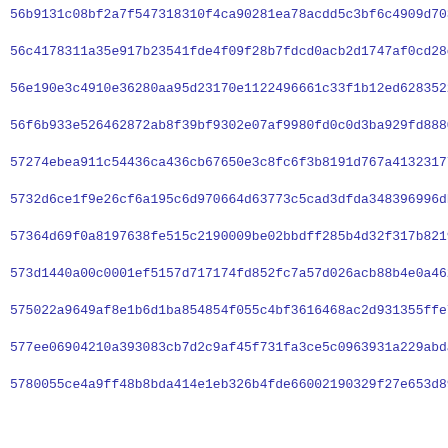56b9131c08bf2a7f547318310f4ca90281ea78acdd5c3bf6c4909d703662d
56c4178311a35e917b23541fde4f09f28b7fdcd0acb2d1747af0cd28c0d4e
56e190e3c4910e36280aa95d23170e1122496661c33f1b12ed628352213737
56f6b933e526462872ab8f39bf9302e07af9980fd0c0d3ba929fd8880539f
57274ebea911c54436ca436cb67650e3c8fc6f3b8191d767a41323177e12c
5732d6ce1f9e26cf6a195c6d970664d63773c5cad3dfda348396996dba7e3
57364d69f0a8197638fe515c2190009be02bbdff285b4d32f317b8219f720
573d1440a00c0001ef5157d717174fd852fc7a57d026acb88b4e0a462b2dd
575022a9649af8e1b6d1ba854854f055c4bf3616468ac2d931355ffe77ae6
577ee06904210a393083cb7d2c9af45f731fa3ce5c0963931a229abda4a08
5780055ce4a9ff48b8bda414e1eb326b4fde66002190329f27e653d898f7e